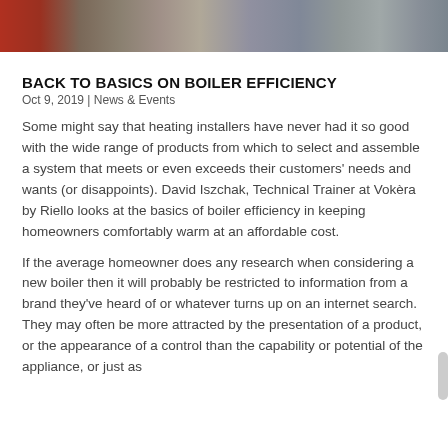[Figure (photo): Partial photo of a person working with industrial/heating equipment, showing red machinery and metal components]
BACK TO BASICS ON BOILER EFFICIENCY
Oct 9, 2019 | News & Events
Some might say that heating installers have never had it so good with the wide range of products from which to select and assemble a system that meets or even exceeds their customers' needs and wants (or disappoints). David Iszchak, Technical Trainer at Vokèra by Riello looks at the basics of boiler efficiency in keeping homeowners comfortably warm at an affordable cost.
If the average homeowner does any research when considering a new boiler then it will probably be restricted to information from a brand they've heard of or whatever turns up on an internet search. They may often be more attracted by the presentation of a product, or the appearance of a control than the capability or potential of the appliance, or just as